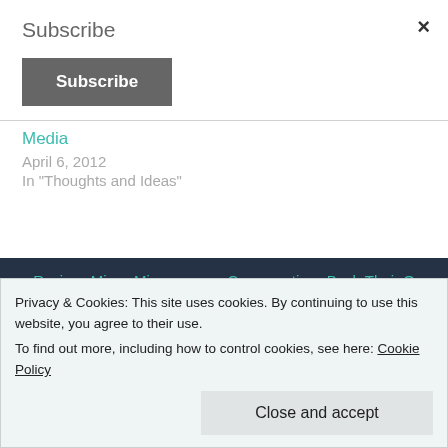Subscribe
Subscribe (button)
×
Media
April 6, 2012
In "Thoughts and Ideas"
← Review: Mirror Mirror
Conservatives Bash Their Own
Privacy & Cookies: This site uses cookies. By continuing to use this website, you agree to their use.
To find out more, including how to control cookies, see here: Cookie Policy
Close and accept